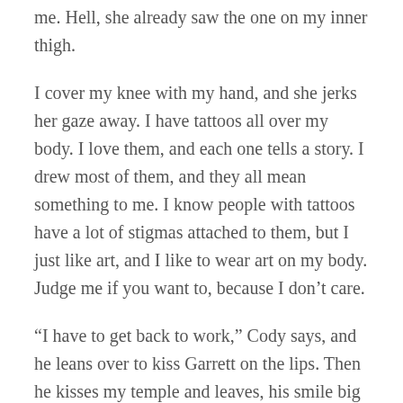me. Hell, she already saw the one on my inner thigh.
I cover my knee with my hand, and she jerks her gaze away. I have tattoos all over my body. I love them, and each one tells a story. I drew most of them, and they all mean something to me. I know people with tattoos have a lot of stigmas attached to them, but I just like art, and I like to wear art on my body. Judge me if you want to, because I don't care.
“I have to get back to work,” Cody says, and he leans over to kiss Garrett on the lips. Then he kisses my temple and leaves, his smile big and bright.
Garrett hangs out with me while I change clothes behind the curtain. I can hear his feet hitting the side of the exam table he’s sitting on. He’s like a giddy little kid with his feet swinging